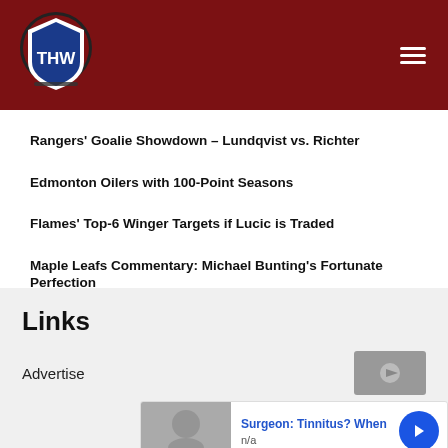THW logo and navigation
Rangers' Goalie Showdown – Lundqvist vs. Richter
Edmonton Oilers with 100-Point Seasons
Flames' Top-6 Winger Targets if Lucic is Traded
Maple Leafs Commentary: Michael Bunting's Fortunate Perfection
3 Pittsburgh Penguins Not Expected Back in 2023-24
Links
Advertise
[Figure (advertisement): Ad banner: Surgeon: Tinnitus? When, n/a]